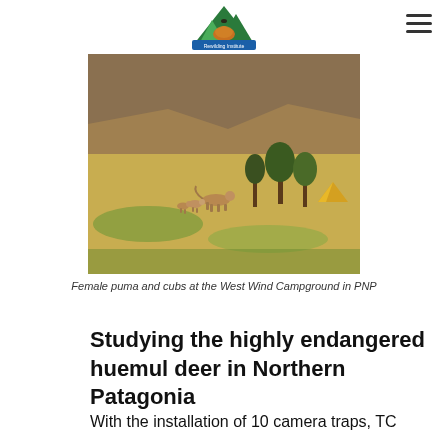Rewilding Institute logo and navigation
[Figure (photo): Female puma and cubs walking through an open grassy field at the West Wind Campground in Patagonia National Park. A yellow tent is visible in the background near some trees. Rocky hills in the far background.]
Female puma and cubs at the West Wind Campground in PNP
Studying the highly endangered huemul deer in Northern Patagonia
With the installation of 10 camera traps, TC